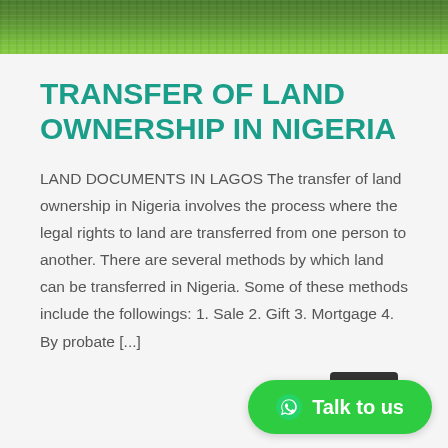[Figure (photo): Green grass photograph at top of page]
TRANSFER OF LAND OWNERSHIP IN NIGERIA
LAND DOCUMENTS IN LAGOS The transfer of land ownership in Nigeria involves the process where the legal rights to land are transferred from one person to another. There are several methods by which land can be transferred in Nigeria. Some of these methods include the followings: 1. Sale 2. Gift 3. Mortgage 4. By probate [...]